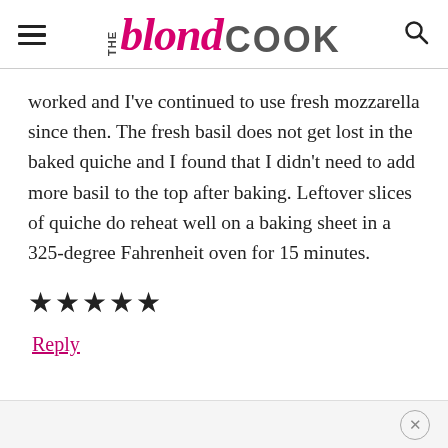THE blond COOK
worked and I've continued to use fresh mozzarella since then. The fresh basil does not get lost in the baked quiche and I found that I didn't need to add more basil to the top after baking. Leftover slices of quiche do reheat well on a baking sheet in a 325-degree Fahrenheit oven for 15 minutes.
★★★★★
Reply